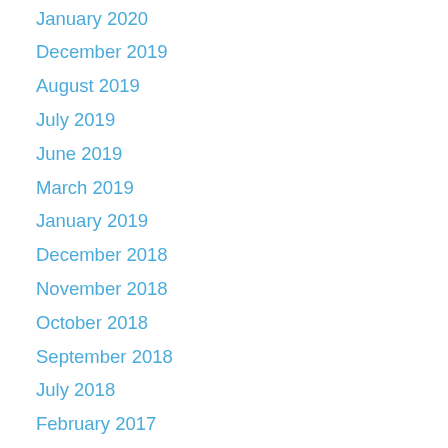January 2020
December 2019
August 2019
July 2019
June 2019
March 2019
January 2019
December 2018
November 2018
October 2018
September 2018
July 2018
February 2017
January 2017
December 2016
November 2016
October 2016
September 2016
August 2016
July 2016